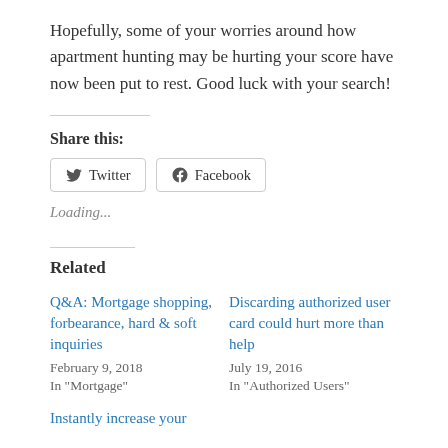Hopefully, some of your worries around how apartment hunting may be hurting your score have now been put to rest. Good luck with your search!
Share this:
Loading...
Related
Q&A: Mortgage shopping, forbearance, hard & soft inquiries
February 9, 2018
In "Mortgage"
Discarding authorized user card could hurt more than help
July 19, 2016
In "Authorized Users"
Instantly increase your